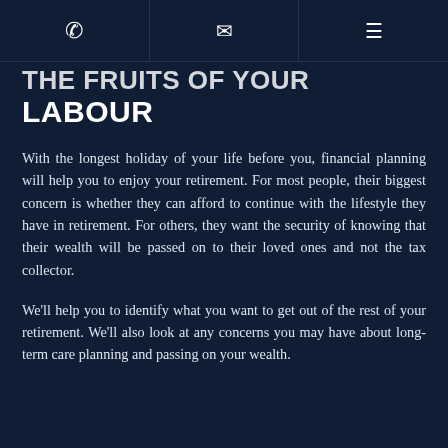Phone | Email | Menu icons
LABOUR
With the longest holiday of your life before you, financial planning will help you to enjoy your retirement. For most people, their biggest concern is whether they can afford to continue with the lifestyle they have in retirement. For others, they want the security of knowing that their wealth will be passed on to their loved ones and not the tax collector.
We'll help you to identify what you want to get out of the rest of your retirement. We'll also look at any concerns you may have about long-term care planning and passing on your wealth.